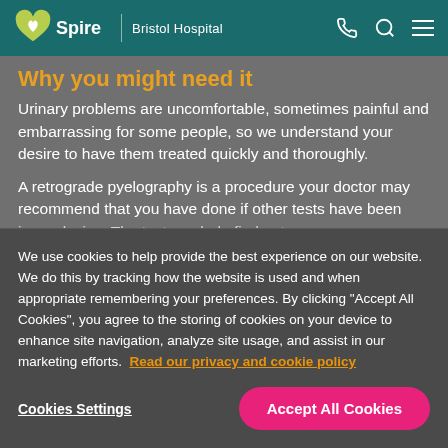Spire Bristol Hospital
Why you might need it
Urinary problems are uncomfortable, sometimes painful and embarrassing for some people, so we understand your desire to have them treated quickly and thoroughly.
A retrograde pyelography is a procedure your doctor may recommend that you have done if other tests have been inconclusive. The test can help find out...
We use cookies to help provide the best experience on our website. We do this by tracking how the website is used and when appropriate remembering your preferences. By clicking "Accept All Cookies", you agree to the storing of cookies on your device to enhance site navigation, analyze site usage, and assist in our marketing efforts. Read our privacy and cookie policy
Cookies Settings
Accept All Cookies